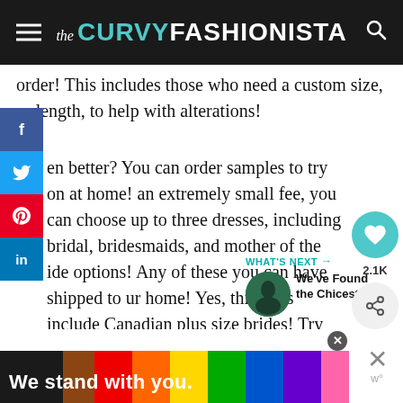the CURVY FASHIONISTA
order! This includes those who need a custom size, or length, to help with alterations!
en better? You can order samples to try on at home! an extremely small fee, you can choose up to three dresses, including bridal, bridesmaids, and mother of the ide options! Any of these you can have shipped to ur home! Yes, this does include Canadian plus size brides! Try on Party, anyone?
WHAT'S NEXT → We've Found the Chicest...
[Figure (illustration): Rainbow pride advertisement banner reading 'We stand with you.' with multicolor stripes on black background]